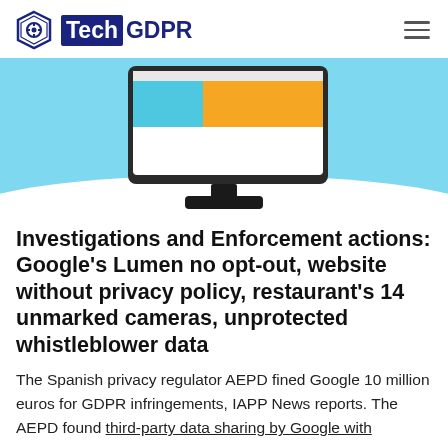Tech GDPR
[Figure (illustration): Illustration of a desktop computer monitor with a colorful screen (yellow/orange and cyan/blue area chart visible), shown against a light blue background with a rounded bottom edge.]
Investigations and Enforcement actions: Google's Lumen no opt-out, website without privacy policy, restaurant's 14 unmarked cameras, unprotected whistleblower data
The Spanish privacy regulator AEPD fined Google 10 million euros for GDPR infringements, IAPP News reports. The AEPD found third-party data sharing by Google with